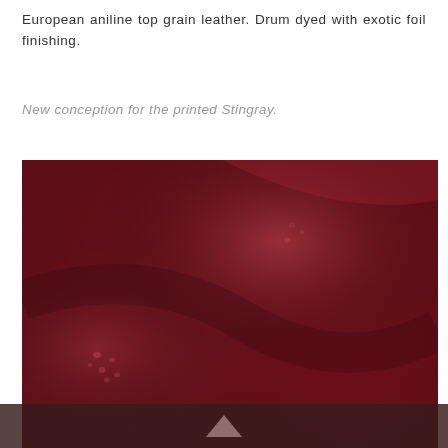European aniline top grain leather. Drum dyed with exotic foil finishing.
New conception for the printed Stingray.
[Figure (photo): Close-up photograph of deep red/crimson aniline top grain leather with stingray print texture, showing subtle light reflections and fine surface grain detail.]